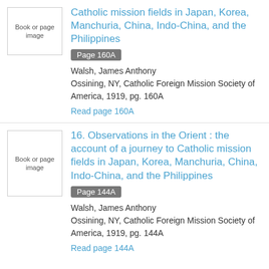Observations in the Orient : the account of a journey to Catholic mission fields in Japan, Korea, Manchuria, China, Indo-China, and the Philippines
Page 160A
Walsh, James Anthony
Ossining, NY, Catholic Foreign Mission Society of America, 1919, pg. 160A
Read page 160A
16. Observations in the Orient : the account of a journey to Catholic mission fields in Japan, Korea, Manchuria, China, Indo-China, and the Philippines
Page 144A
Walsh, James Anthony
Ossining, NY, Catholic Foreign Mission Society of America, 1919, pg. 144A
Read page 144A